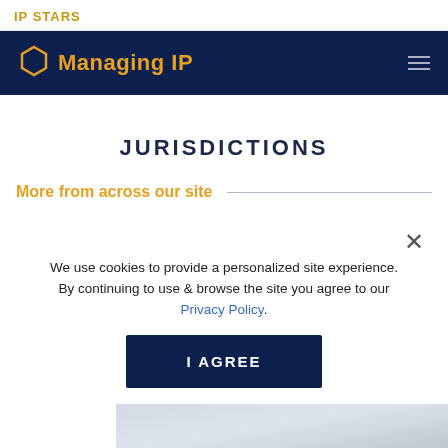IP STARS
[Figure (screenshot): Managing IP website navigation bar with hexagon logo and hamburger menu on dark navy background]
JURISDICTIONS
More from across our site
We use cookies to provide a personalized site experience. By continuing to use & browse the site you agree to our Privacy Policy.
I AGREE